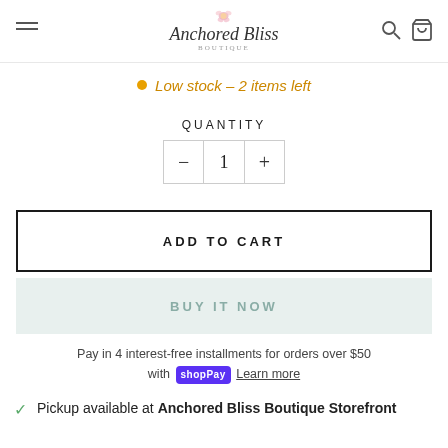Anchored Bliss Boutique — navigation header with hamburger menu, logo, search and cart icons
Low stock – 2 items left
QUANTITY
− 1 +
ADD TO CART
BUY IT NOW
Pay in 4 interest-free installments for orders over $50 with shopPay Learn more
Pickup available at Anchored Bliss Boutique Storefront